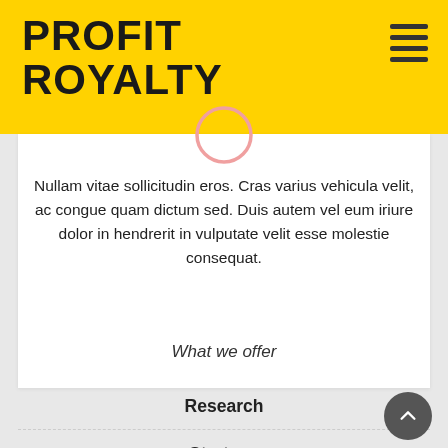PROFIT ROYALTY
Nullam vitae sollicitudin eros. Cras varius vehicula velit, ac congue quam dictum sed. Duis autem vel eum iriure dolor in hendrerit in vulputate velit esse molestie consequat.
What we offer
Research
Strategy
Design
Experience